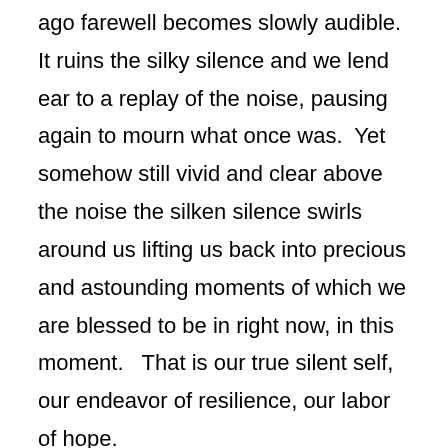ago farewell becomes slowly audible.  It ruins the silky silence and we lend ear to a replay of the noise, pausing again to mourn what once was.  Yet somehow still vivid and clear above the noise the silken silence swirls around us lifting us back into precious and astounding moments of which we are blessed to be in right now, in this moment.   That is our true silent self, our endeavor of resilience, our labor of hope.

     Shelley shared a powerful story with me about a time when her and her husband hosted a dinner party at their home with friends.   The dinner party went marvelously with great